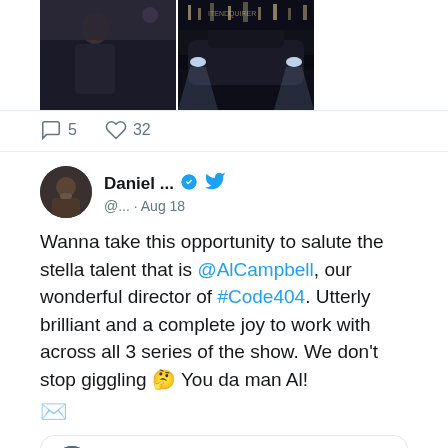[Figure (photo): Two side-by-side images: left shows a person in dark clothing, right shows a dark car scene at night]
5  32 (comment and like counts)
Daniel ... @... · Aug 18
Wanna take this opportunity to salute the stella talent that is @AlCampbell, our wonderful director of #Code404. Utterly brilliant and a complete joy to work with across all 3 series of the show. We don't stop giggling 🤔 You da man Al!
Al... @Al... · Aug 18